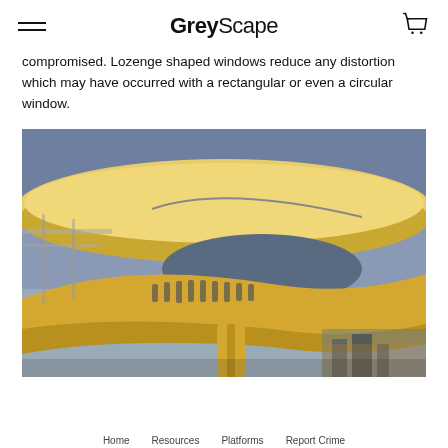GreyScape
compromised. Lozenge shaped windows reduce any distortion which may have occurred with a rectangular or even a circular window.
[Figure (photo): Architectural photo of a curved white/yellow overhang structure with a spiral ramp, viewed from below against a blue-grey twilight sky. The structure appears to be a modern museum or public building with elegant curved forms.]
Home  Resources  Platforms  Report Crime